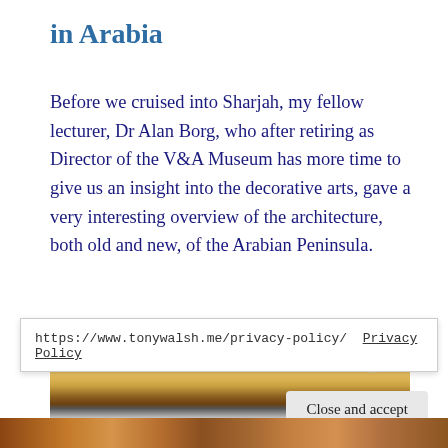in Arabia
Before we cruised into Sharjah, my fellow lecturer, Dr Alan Borg, who after retiring as Director of the V&A Museum has more time to give us an insight into the decorative arts, gave a very interesting overview of the architecture, both old and new, of the Arabian Peninsula.
[Figure (photo): Interior photo showing ornate decorative woodwork and mirror, warm amber/brown tones with a ceiling lamp visible]
https://www.tonywalsh.me/privacy-policy/  Privacy Policy
Close and accept
[Figure (photo): Partial bottom photo strip showing people in warm tones]